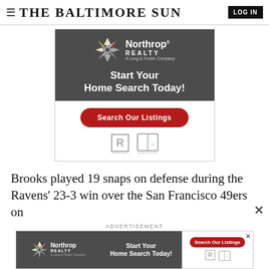THE BALTIMORE SUN
[Figure (illustration): Northrop Realty advertisement — large banner with dark gray background, compass star logo, headline 'Start Your Home Search Today!', red 'Search Our Listings' button, Realtor and Equal Housing Opportunity icons.]
Brooks played 19 snaps on defense during the Ravens' 23-3 win over the San Francisco 49ers on
[Figure (illustration): Northrop Realty small banner advertisement with logo, 'Start Your Home Search Today!' text, and red 'Search Our Listings' button.]